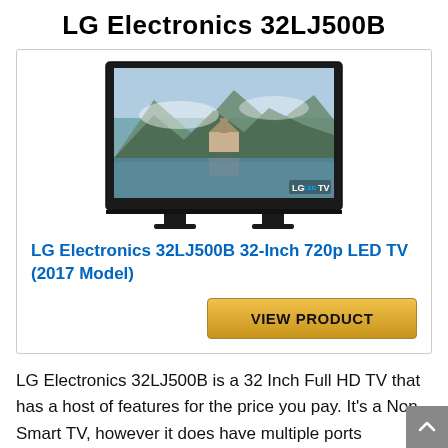LG Electronics 32LJ500B
[Figure (photo): LG Electronics 32LJ500B 32-inch LED TV with a scenic landscape displayed on screen, shown from the front with stand, LG LED TV branding visible]
LG Electronics 32LJ500B 32-Inch 720p LED TV (2017 Model)
VIEW PRODUCT
LG Electronics 32LJ500B is a 32 Inch Full HD TV that has a host of features for the price you pay. It's a Non Smart TV, however it does have multiple ports including USB and